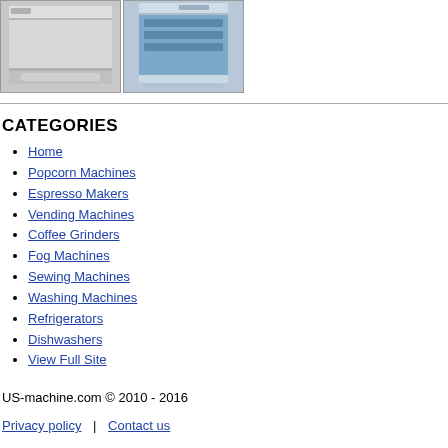[Figure (photo): Two dishwasher product photos side by side: left shows a built-in dishwasher (silver/gray), right shows a freestanding dishwasher (stainless steel, door ajar showing blue interior)]
CATEGORIES
Home
Popcorn Machines
Espresso Makers
Vending Machines
Coffee Grinders
Fog Machines
Sewing Machines
Washing Machines
Refrigerators
Dishwashers
View Full Site
US-machine.com © 2010 - 2016
Privacy policy | Contact us